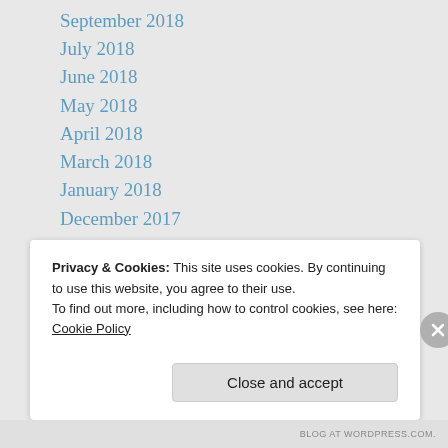September 2018
July 2018
June 2018
May 2018
April 2018
March 2018
January 2018
December 2017
November 2017
October 2017
September 2017
May 2017
April 2017
March 2017
Privacy & Cookies: This site uses cookies. By continuing to use this website, you agree to their use.
To find out more, including how to control cookies, see here: Cookie Policy
BLOGAT WORDPRESS.COM